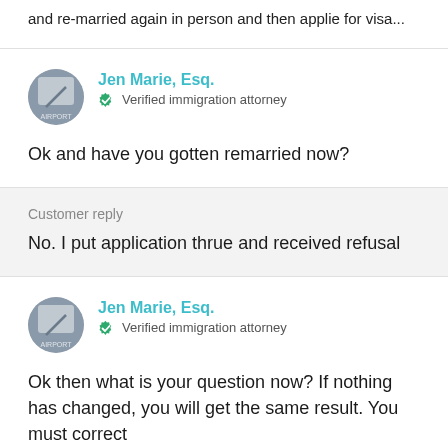and re-married again in person and then applie for visa...
Jen Marie, Esq.
Verified immigration attorney
Ok and have you gotten remarried now?
Customer reply
No. I put application thrue and received refusal
Jen Marie, Esq.
Verified immigration attorney
Ok then what is your question now? If nothing has changed, you will get the same result. You must correct